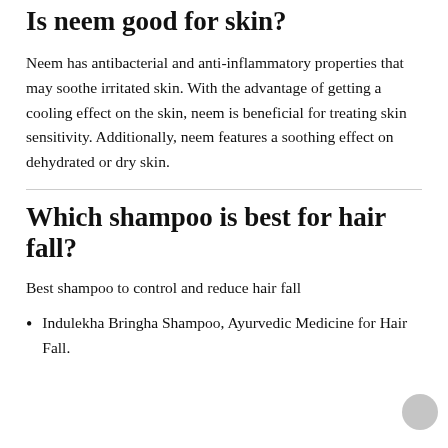Is neem good for skin?
Neem has antibacterial and anti-inflammatory properties that may soothe irritated skin. With the advantage of getting a cooling effect on the skin, neem is beneficial for treating skin sensitivity. Additionally, neem features a soothing effect on dehydrated or dry skin.
Which shampoo is best for hair fall?
Best shampoo to control and reduce hair fall
Indulekha Bringha Shampoo, Ayurvedic Medicine for Hair Fall.